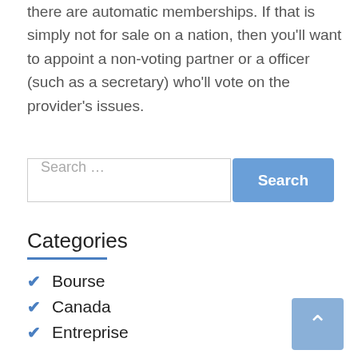there are automatic memberships. If that is simply not for sale on a nation, then you'll want to appoint a non-voting partner or a officer (such as a secretary) who'll vote on the provider's issues.
Search ...
Search
Categories
Bourse
Canada
Entreprise